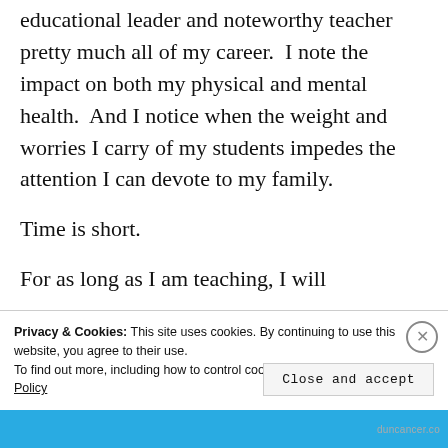educational leader and noteworthy teacher pretty much all of my career.  I note the impact on both my physical and mental health.  And I notice when the weight and worries I carry of my students impedes the attention I can devote to my family.
Time is short.
For as long as I am teaching, I will
Privacy & Cookies: This site uses cookies. By continuing to use this website, you agree to their use.
To find out more, including how to control cookies, see here: Cookie Policy
Close and accept